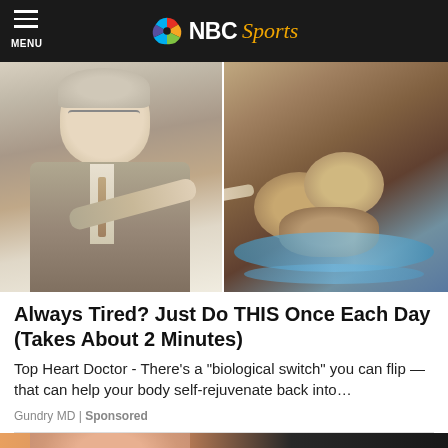NBC Sports
[Figure (photo): Advertisement image showing an older male doctor in a suit pointing at food items including bread and round objects, split image layout]
Always Tired? Just Do THIS Once Each Day (Takes About 2 Minutes)
Top Heart Doctor - There’s a “biological switch” you can flip — that can help your body self-rejuvenate back into…
Gundry MD | Sponsored
[Figure (photo): Second advertisement image, partially visible, showing a person from the waist down against a dark background]